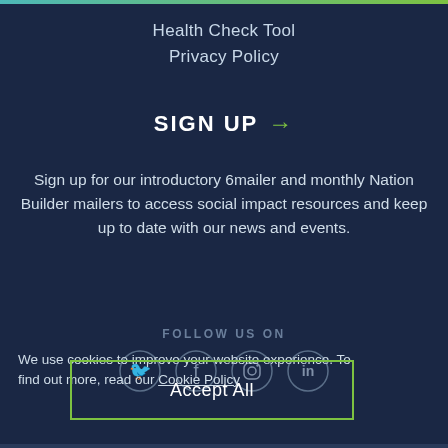Health Check Tool
Privacy Policy
SIGN UP →
Sign up for our introductory 6mailer and monthly Nation Builder mailers to access social impact resources and keep up to date with our news and events.
FOLLOW US ON
[Figure (infographic): Social media icons in circles: Twitter, Facebook, Instagram, LinkedIn]
We use cookies to improve your website experience. To find out more, read our Cookie Policy
Accept All